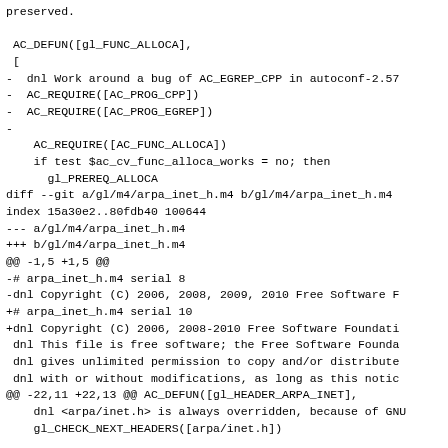preserved.

 AC_DEFUN([gl_FUNC_ALLOCA],
 [
-  dnl Work around a bug of AC_EGREP_CPP in autoconf-2.57
-  AC_REQUIRE([AC_PROG_CPP])
-  AC_REQUIRE([AC_PROG_EGREP])
-
    AC_REQUIRE([AC_FUNC_ALLOCA])
    if test $ac_cv_func_alloca_works = no; then
      gl_PREREQ_ALLOCA
diff --git a/gl/m4/arpa_inet_h.m4 b/gl/m4/arpa_inet_h.m4
index 15a30e2..80fdb40 100644
--- a/gl/m4/arpa_inet_h.m4
+++ b/gl/m4/arpa_inet_h.m4
@@ -1,5 +1,5 @@
-# arpa_inet_h.m4 serial 8
-dnl Copyright (C) 2006, 2008, 2009, 2010 Free Software F
+# arpa_inet_h.m4 serial 10
+dnl Copyright (C) 2006, 2008-2010 Free Software Foundati
 dnl This file is free software; the Free Software Founda
 dnl gives unlimited permission to copy and/or distribute
 dnl with or without modifications, as long as this notic
@@ -22,11 +22,13 @@ AC_DEFUN([gl_HEADER_ARPA_INET],
    dnl <arpa/inet.h> is always overridden, because of GNU
    gl_CHECK_NEXT_HEADERS([arpa/inet.h])

+  AC_REQUIRE([gl_FEATURES_H])
+
    dnl Check for declarations of anything we want to pois